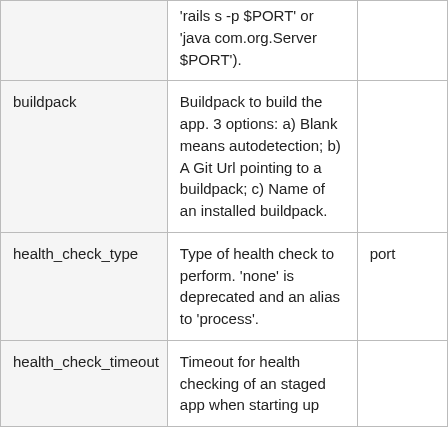| Field | Description | Default |
| --- | --- | --- |
|  | 'rails s -p $PORT' or 'java com.org.Server $PORT'). |  |
| buildpack | Buildpack to build the app. 3 options: a) Blank means autodetection; b) A Git Url pointing to a buildpack; c) Name of an installed buildpack. |  |
| health_check_type | Type of health check to perform. 'none' is deprecated and an alias to 'process'. | port |
| health_check_timeout | Timeout for health checking of an staged app when starting up |  |